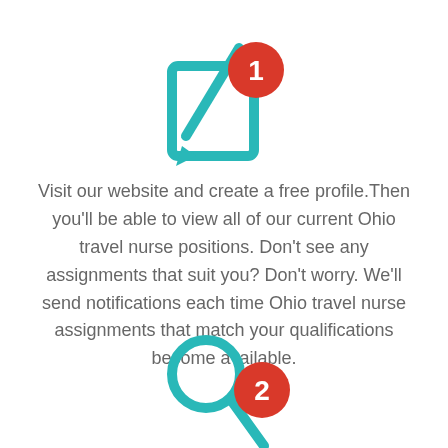[Figure (illustration): Teal pen-and-paper (edit) icon with a red circle badge containing the number 1]
Visit our website and create a free profile.Then you'll be able to view all of our current Ohio travel nurse positions. Don't see any assignments that suit you? Don't worry. We'll send notifications each time Ohio travel nurse assignments that match your qualifications become available.
[Figure (illustration): Teal magnifying glass icon with a red circle badge containing the number 2]